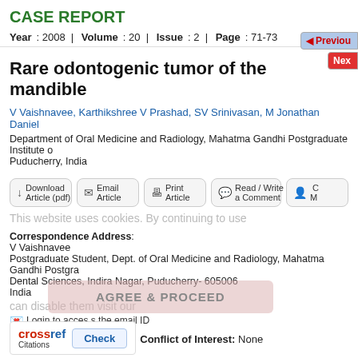CASE REPORT
Year : 2008 | Volume : 20 | Issue : 2 | Page : 71-73
Rare odontogenic tumor of the mandible
V Vaishnavee, Karthikshree V Prashad, SV Srinivasan, M Jonathan Daniel
Department of Oral Medicine and Radiology, Mahatma Gandhi Postgraduate Institute of Puducherry, India
Download Article (pdf)  Email Article  Print Article  Read / Write a Comment
This website uses cookies. By continuing to use
Correspondence Address:
V Vaishnavee
Postgraduate Student, Dept. of Oral Medicine and Radiology, Mahatma Gandhi Postgraduate Dental Sciences, Indira Nagar, Puducherry- 605006
India
Login to access the email ID
Source of Support: None, Conflict of Interest: None
[Figure (logo): CrossRef Citations logo with Check button]